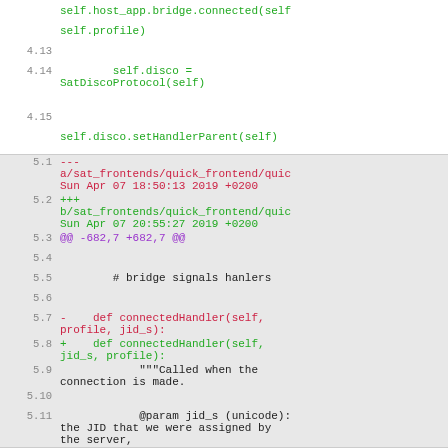[Figure (screenshot): Code diff screenshot showing Python source code with line numbers. White background section shows lines 4.12-4.15 with green code. Gray background section shows lines 5.1-5.11 with a git diff including red (removed) and green (added) lines, and purple diff markers.]